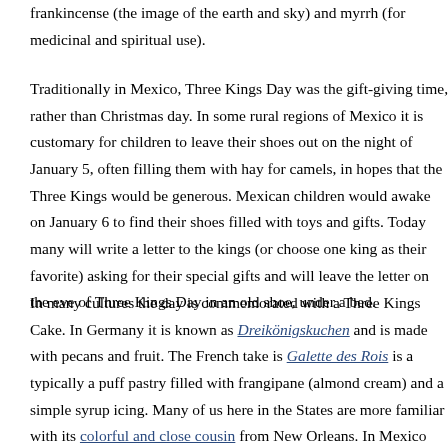frankincense (the image of the earth and sky) and myrrh (for medicinal and spiritual use).
Traditionally in Mexico, Three Kings Day was the gift-giving time, rather than Christmas day. In some rural regions of Mexico it is customary for children to leave their shoes out on the night of January 5, often filling them with hay for camels, in hopes that the Three Kings would be generous. Mexican children would awake on January 6 to find their shoes filled with toys and gifts. Today many will write a letter to the kings (or choose one king as their favorite) asking for their special gifts and will leave the letter on the eve of Three Kings Day in an old shoe, under a bed.
In many cultures the day is commemorated with a Three Kings Cake. In Germany it is known as Dreikönigskuchen and is made with pecans and fruit. The French take is Galette des Rois is a typically a puff pastry filled with frangipane (almond cream) and a simple syrup icing. Many of us here in the States are more familiar with its colorful and close cousin from New Orleans. In Mexico and some the "cake," Rosca de Reyes is a bit more brioche like and flavored with lemon and orange zests, brandy, orange flower water and almonds.